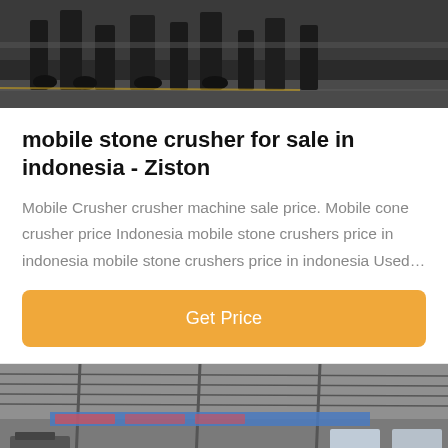[Figure (photo): Black and white photo of heavy machinery or industrial equipment, likely crusher machinery viewed from ground level]
mobile stone crusher for sale in indonesia - Ziston
Mobile Crusher crusher machine sale price. Mobile cone crusher price Indonesia mobile stone crushers price in indonesia mobile stone crushers price in indonesia Used…
Get Price
[Figure (photo): Interior of an industrial factory or warehouse with steel roof trusses, blue signage banners, and large open space]
Leave Message
Chat Online